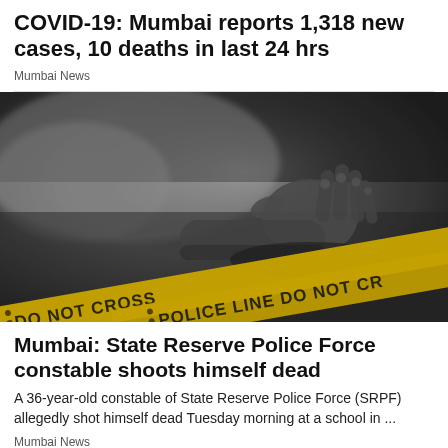COVID-19: Mumbai reports 1,318 new cases, 10 deaths in last 24 hrs
Mumbai News
[Figure (photo): Crime scene photo showing a hand near yellow police tape reading 'DO NOT CROSS' and 'POLICE LINE DO NOT CROSS' on a dark blurred background]
Mumbai: State Reserve Police Force constable shoots himself dead
A 36-year-old constable of State Reserve Police Force (SRPF) allegedly shot himself dead Tuesday morning at a school in ...
Mumbai News